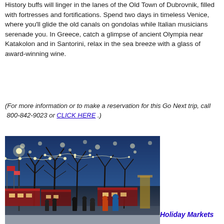History buffs will linger in the lanes of the Old Town of Dubrovnik, filled with fortresses and fortifications. Spend two days in timeless Venice, where you'll glide the old canals on gondolas while Italian musicians serenade you. In Greece, catch a glimpse of ancient Olympia near Katakolon and in Santorini, relax in the sea breeze with a glass of award-winning wine.
(For more information or to make a reservation for this Go Next trip, call  800-842-9023 or CLICK HERE .)
[Figure (photo): A Christmas/holiday market at dusk with bare trees strung with lights, colorful market stalls, and people walking in snow]
Holiday Markets